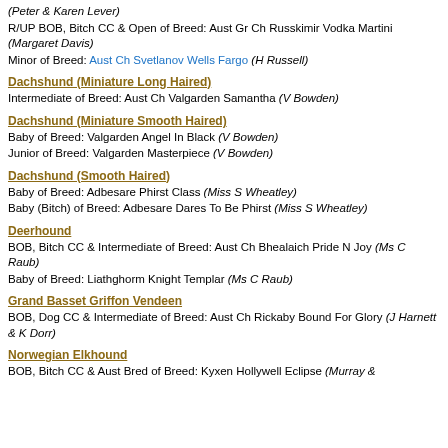(Peter & Karen Lever)
R/UP BOB, Bitch CC & Open of Breed: Aust Gr Ch Russkimir Vodka Martini (Margaret Davis)
Minor of Breed: Aust Ch Svetlanov Wells Fargo (H Russell)
Dachshund (Miniature Long Haired)
Intermediate of Breed: Aust Ch Valgarden Samantha (V Bowden)
Dachshund (Miniature Smooth Haired)
Baby of Breed: Valgarden Angel In Black (V Bowden)
Junior of Breed: Valgarden Masterpiece (V Bowden)
Dachshund (Smooth Haired)
Baby of Breed: Adbesare Phirst Class (Miss S Wheatley)
Baby (Bitch) of Breed: Adbesare Dares To Be Phirst (Miss S Wheatley)
Deerhound
BOB, Bitch CC & Intermediate of Breed: Aust Ch Bhealaich Pride N Joy (Ms C Raub)
Baby of Breed: Liathghorm Knight Templar (Ms C Raub)
Grand Basset Griffon Vendeen
BOB, Dog CC & Intermediate of Breed: Aust Ch Rickaby Bound For Glory (J Harnett & K Dorr)
Norwegian Elkhound
BOB, Bitch CC & Aust Bred of Breed: Kyxen Hollywell Eclipse (Murray &